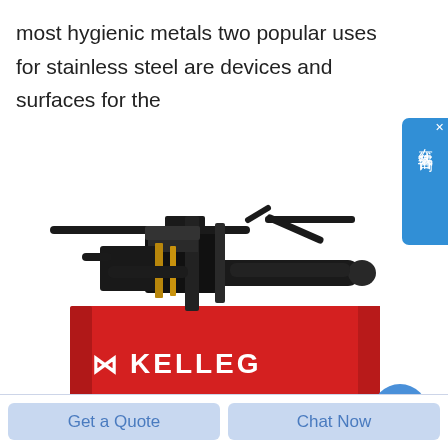most hygienic metals two popular uses for stainless steel are devices and surfaces for the
[Figure (photo): Industrial pipe welding or threading machine by KELLEG, with black mechanical components mounted on a red base/container with KELLEG branding logo]
在线咨询 (Online Consultation chat widget)
Get a Quote
Chat Now